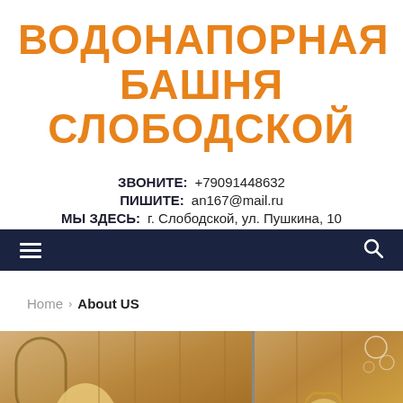ВОДОНАПОРНАЯ БАШНЯ СЛОБОДСКОЙ
ЗВОНИТЕ: +79091448632
ПИШИТЕ: an167@mail.ru
МЫ ЗДЕСЬ: г. Слободской, ул. Пушкина, 10
≡  🔍
Home › About US
[Figure (photo): Interior bathroom/kitchen photo showing wooden cabinetry, an arched mirror, and a person with blonde hair visible at bottom]